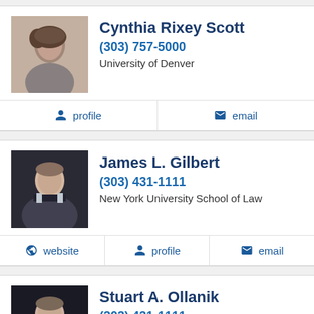[Figure (photo): Headshot photo of Cynthia Rixey Scott]
Cynthia Rixey Scott
(303) 757-5000
University of Denver
profile   email
[Figure (photo): Headshot photo of James L. Gilbert]
James L. Gilbert
(303) 431-1111
New York University School of Law
website   profile   email
[Figure (photo): Headshot photo of Stuart A. Ollanik]
Stuart A. Ollanik
(303) 431-1111